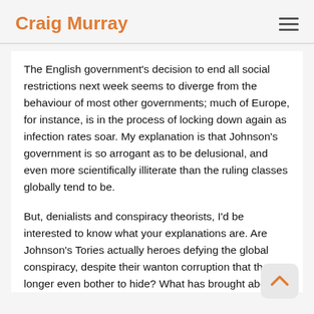Craig Murray
The English government's decision to end all social restrictions next week seems to diverge from the behaviour of most other governments; much of Europe, for instance, is in the process of locking down again as infection rates soar. My explanation is that Johnson's government is so arrogant as to be delusional, and even more scientifically illiterate than the ruling classes globally tend to be.
But, denialists and conspiracy theorists, I'd be interested to know what your explanations are. Are Johnson's Tories actually heroes defying the global conspiracy, despite their wanton corruption that they no longer even bother to hide? What has brought about their change of heart? Has the global plot been abandoned due to your diligent efforts, and if so, why only by Westminster?
The test of theory is its power to explain and predict. If the pandemic is indeed a hoax, the English government's decision will presumably reveal it. Will their rebellion go unpunished by the